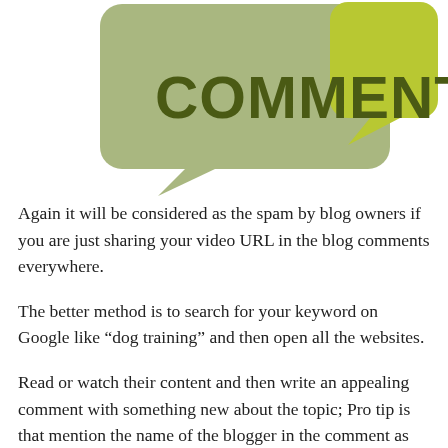[Figure (illustration): Two overlapping speech bubble shapes in olive green and yellow-green colors with the word COMMENTS in large bold dark olive/green text on the larger bubble.]
Again it will be considered as the spam by blog owners if you are just sharing your video URL in the blog comments everywhere.
The better method is to search for your keyword on Google like “dog training” and then open all the websites.
Read or watch their content and then write an appealing comment with something new about the topic; Pro tip is that mention the name of the blogger in the comment as well.
At last of comment, you could say like “Also have a look at my